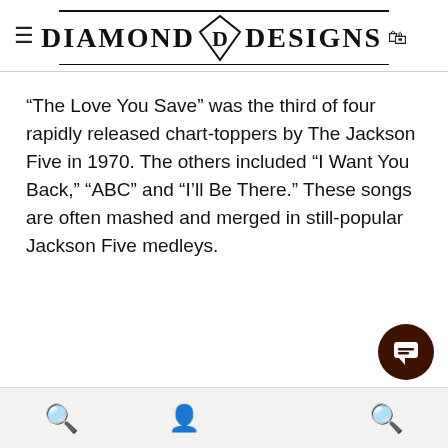DIAMOND DESIGNS
“The Love You Save” was the third of four rapidly released chart-toppers by The Jackson Five in 1970. The others included “I Want You Back,” “ABC” and “I’ll Be There.” These songs are often mashed and merged in still-popular Jackson Five medleys.